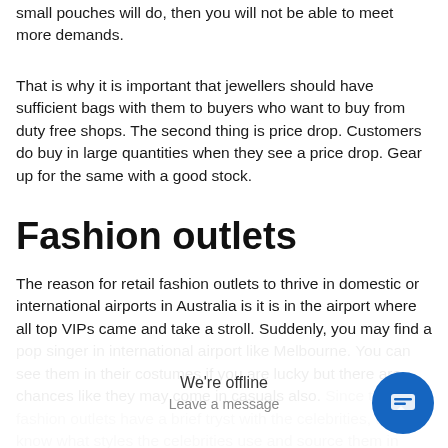small pouches will do, then you will not be able to meet more demands.
That is why it is important that jewellers should have sufficient bags with them to buyers who want to buy from duty free shops. The second thing is price drop. Customers do buy in large quantities when they see a price drop. Gear up for the same with a good stock.
Fashion outlets
The reason for retail fashion outlets to thrive in domestic or international airports in Australia is it is in the airport where all top VIPs came and take a stroll. Suddenly, you may find a pop singer in international airport like Melbourne. You can see them in their costumes if you are lucky but there are chances like they may come in casuals also. Since the fashion outlets have a brief tryst with the celebrities, they know what styles the celebrities use and source them in their shops. You can even collect designs...